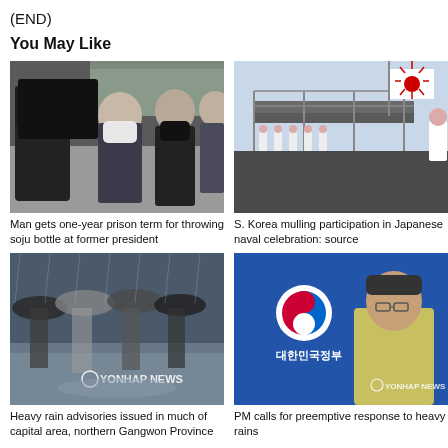(END)
You May Like
[Figure (photo): People in masks being escorted, one person holding a black shield/folder]
Man gets one-year prison term for throwing soju bottle at former president
[Figure (photo): Naval ceremony scene with Japanese rising sun flag on a ship gangway, naval officers in white uniform]
S. Korea mulling participation in Japanese naval celebration: source
[Figure (photo): People walking with umbrellas in heavy rain on a street, Yonhap News watermark]
Heavy rain advisories issued in much of capital area, northern Gangwon Province
[Figure (photo): Man in yellow jacket speaking, Korean government logo in background, Yonhap News watermark]
PM calls for preemptive response to heavy rains